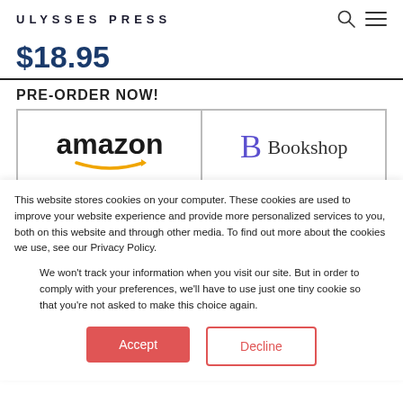ULYSSES PRESS
$18.95
PRE-ORDER NOW!
[Figure (logo): Amazon logo with orange arrow swoosh underneath]
[Figure (logo): Bookshop logo with stylized B and Bookshop text]
This website stores cookies on your computer. These cookies are used to improve your website experience and provide more personalized services to you, both on this website and through other media. To find out more about the cookies we use, see our Privacy Policy.
We won’t track your information when you visit our site. But in order to comply with your preferences, we’ll have to use just one tiny cookie so that you’re not asked to make this choice again.
Accept
Decline